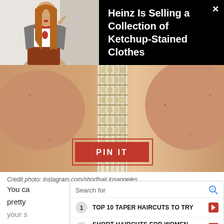[Figure (screenshot): Top banner showing a person in a grey blazer and white t-shirt with red trim on the left, and text on black background on the right reading 'Heinz Is Selling a Collection of Ketchup-Stained Clothes' with an X close button]
Heinz Is Selling a Collection of Ketchup-Stained Clothes
[Figure (photo): Close-up photo of a person's back/shoulder area with a woven/macrame strap detail. A red 'PIN IT' button overlay is visible at the bottom center.]
Credit photo: instagram.com/shorthair.losangeles
You ca...th a pretty...Ask your s...r hair
[Figure (screenshot): Ad overlay with search bar showing 'Search for', two bold ad rows: '1 TOP 10 TAPER HAIRCUTS TO TRY' and '2 SHORT HAIRCUTS FOR WOMEN OVER', each with a red arrow. Footer shows 'Ad | Business Focus']